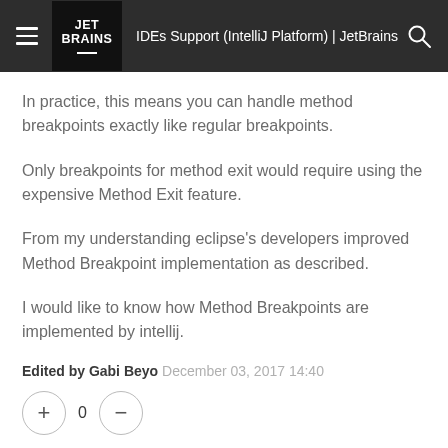IDEs Support (IntelliJ Platform) | JetBrains
In practice, this means you can handle method breakpoints exactly like regular breakpoints.
Only breakpoints for method exit would require using the expensive Method Exit feature.
From my understanding eclipse's developers improved Method Breakpoint implementation as described.
I would like to know how Method Breakpoints are implemented by intellij.
Edited by Gabi Beyo December 03, 2017 14:40